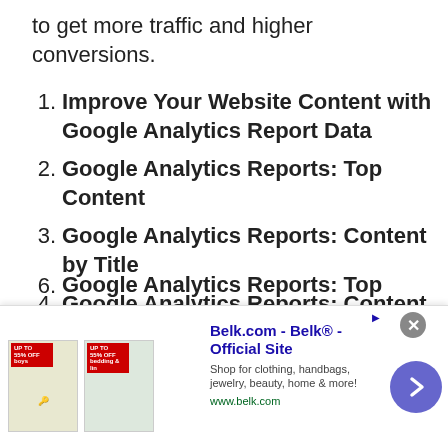to get more traffic and higher conversions.
1. Improve Your Website Content with Google Analytics Report Data
2. Google Analytics Reports: Top Content
3. Google Analytics Reports: Content by Title
4. Google Analytics Reports: Content Drilldown
5. Google Analytics Reports: Top Landing Pages
[Figure (screenshot): Advertisement banner for Belk.com showing shop for clothing, handbags, jewelry, beauty, home & more.]